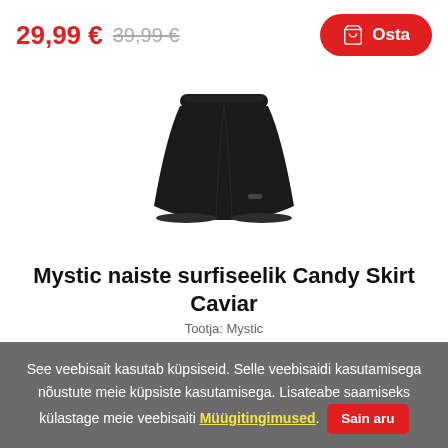29,99 € 39,99 €
Osta
[Figure (photo): Black women's surf skirt / shorts product photo on white background]
Mystic naiste surfiseelik Candy Skirt Caviar
Tootja: Mystic
See veebisait kasutab küpsiseid. Selle veebisaidi kasutamisega nõustute meie küpsiste kasutamisega. Lisateabe saamiseks külastage meie veebisaiti Müügitingimused. Sain aru